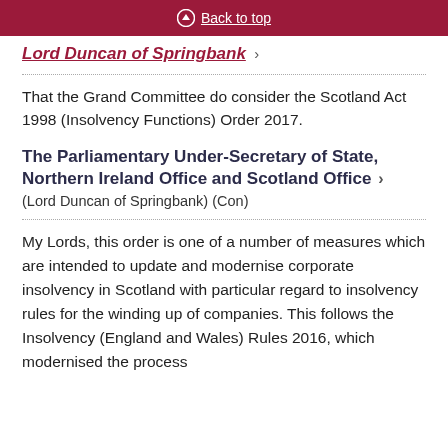Back to top
Lord Duncan of Springbank →
That the Grand Committee do consider the Scotland Act 1998 (Insolvency Functions) Order 2017.
The Parliamentary Under-Secretary of State, Northern Ireland Office and Scotland Office
(Lord Duncan of Springbank) (Con)
My Lords, this order is one of a number of measures which are intended to update and modernise corporate insolvency in Scotland with particular regard to insolvency rules for the winding up of companies. This follows the Insolvency (England and Wales) Rules 2016, which modernised the process